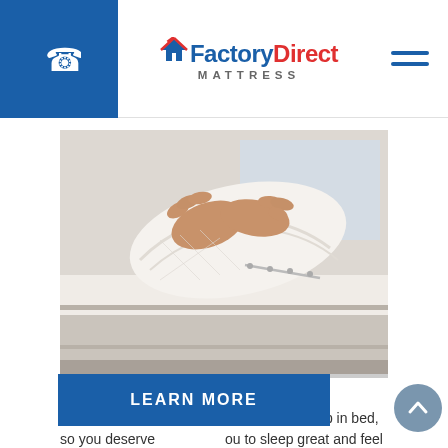Factory Direct Mattress
[Figure (photo): Hands pulling back a quilted mattress cover/topper from a white mattress, showing the zipper detail]
Posted on November 18, 2021 by multifuse
You spend a good portion of your life asleep in bed, so you deserve   ou to sleep great and feel      . A new
LEARN MORE